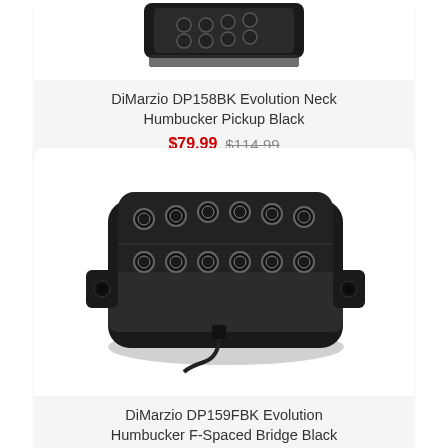[Figure (photo): DiMarzio DP158BK Evolution Neck Humbucker Pickup Black - product photo, partially visible at top]
DiMarzio DP158BK Evolution Neck Humbucker Pickup Black
$79.99 $114.99
[Figure (photo): DiMarzio DP159FBK Evolution Humbucker F-Spaced Bridge Black - product photo showing a black humbucker pickup with multiple pole pieces]
DiMarzio DP159FBK Evolution Humbucker F-Spaced Bridge Black
$79.99 $114.99